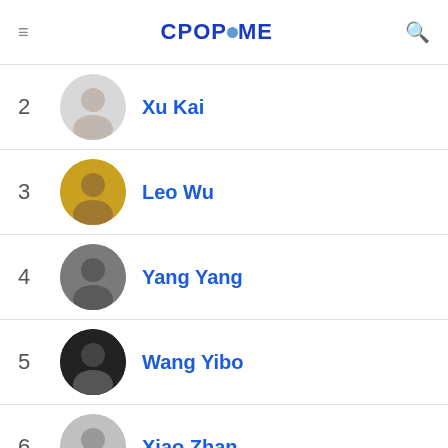CPOPHOME
2  Xu Kai
3  Leo Wu
4  Yang Yang
5  Wang Yibo
6  Xiao Zhan